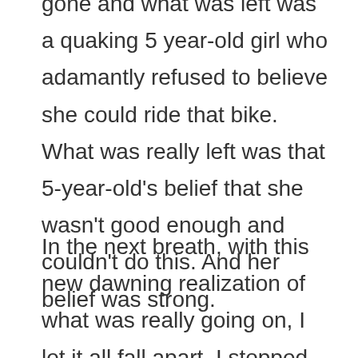gone and what was left was a quaking 5 year-old girl who adamantly refused to believe she could ride that bike. What was really left was that 5-year-old's belief that she wasn't good enough and couldn't do this. And her belief was strong.
In the next breath, with this new dawning realization of what was really going on, I let it all fall apart. I stopped trying to hold it together. I let myself cry for the loss of my dear friend and mentor. I allowed the bereft feelings of loneliness to permeate